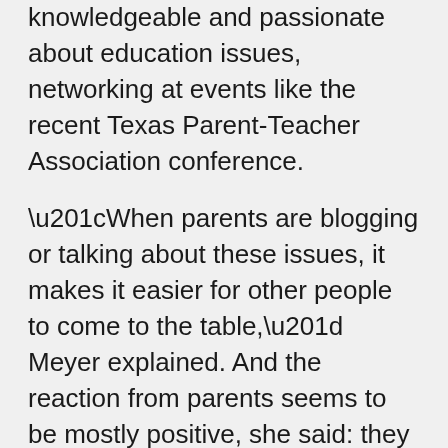knowledgeable and passionate about education issues, networking at events like the recent Texas Parent-Teacher Association conference.
“When parents are blogging or talking about these issues, it makes it easier for other people to come to the table,” Meyer explained. And the reaction from parents seems to be mostly positive, she said: they know their kids, and they know kids need a break.
The Texas legislature adjourned this year without holding a hearing on Meyer’s bill, the next step in the legislative process. The or...